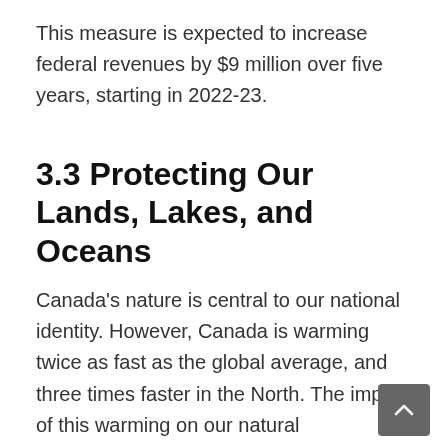This measure is expected to increase federal revenues by $9 million over five years, starting in 2022-23.
3.3 Protecting Our Lands, Lakes, and Oceans
Canada's nature is central to our national identity. However, Canada is warming twice as fast as the global average, and three times faster in the North. The impact of this warming on our natural environment will be significant. Northern, coastal, Indigenous, and remote communities are